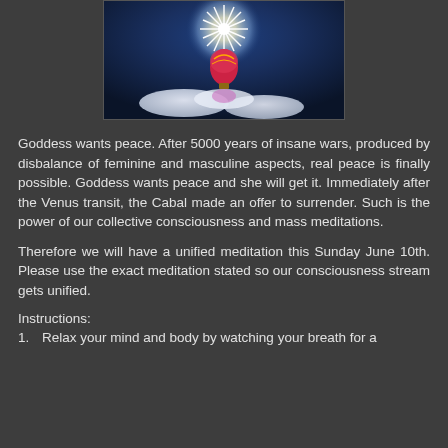[Figure (photo): A hot air balloon ascending into a blue sky with a brilliant star-burst of light above it and clouds below]
Goddess wants peace. After 5000 years of insane wars, produced by disbalance of feminine and masculine aspects, real peace is finally possible. Goddess wants peace and she will get it. Immediately after the Venus transit, the Cabal made an offer to surrender. Such is the power of our collective consciousness and mass meditations.
Therefore we will have a unified meditation this Sunday June 10th. Please use the exact meditation stated so our consciousness stream gets unified.
Instructions:
1.  Relax your mind and body by watching your breath for a